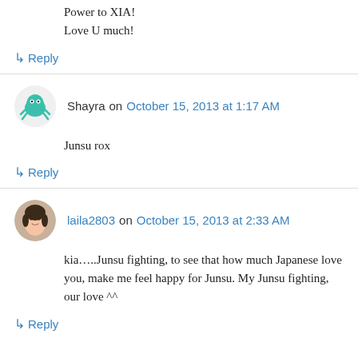Power to XIA!
Love U much!
↳ Reply
Shayra on October 15, 2013 at 1:17 AM
Junsu rox
↳ Reply
laila2803 on October 15, 2013 at 2:33 AM
kia…..Junsu fighting, to see that how much Japanese love you, make me feel happy for Junsu. My Junsu fighting, our love ^^
↳ Reply